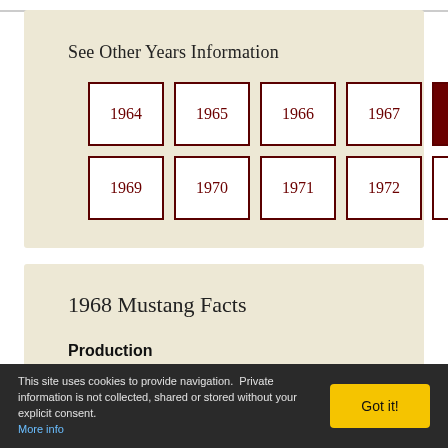See Other Years Information
1964
1965
1966
1967
1968 (active)
1969
1970
1971
1972
1973
1968 Mustang Facts
Production
This site uses cookies to provide navigation. Private information is not collected, shared or stored without your explicit consent.
More info
Got it!